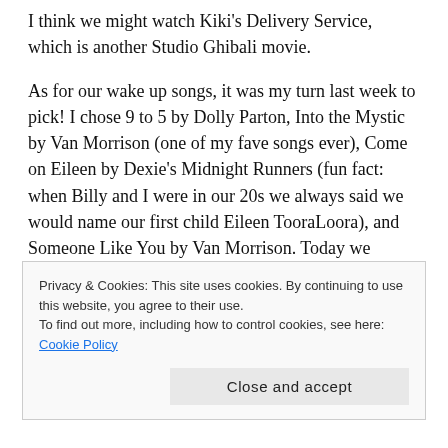I think we might watch Kiki's Delivery Service, which is another Studio Ghibali movie.
As for our wake up songs, it was my turn last week to pick! I chose 9 to 5 by Dolly Parton, Into the Mystic by Van Morrison (one of my fave songs ever), Come on Eileen by Dexie's Midnight Runners (fun fact: when Billy and I were in our 20s we always said we would name our first child Eileen TooraLoora), and Someone Like You by Van Morrison. Today we listened to the song Brandy by Looking Glass, one of Billy's favorites.
Privacy & Cookies: This site uses cookies. By continuing to use this website, you agree to their use. To find out more, including how to control cookies, see here: Cookie Policy
Close and accept